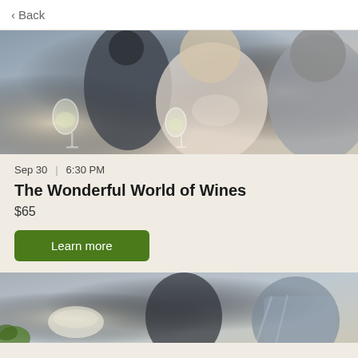< Back
[Figure (photo): Two people clinking white wine glasses at a kitchen counter with a chef in a dark uniform working in the background.]
Sep 30  |  6:30 PM
The Wonderful World of Wines
$65
Learn more
[Figure (photo): People seated at a table in what appears to be a cooking class or dining event, partially cropped.]